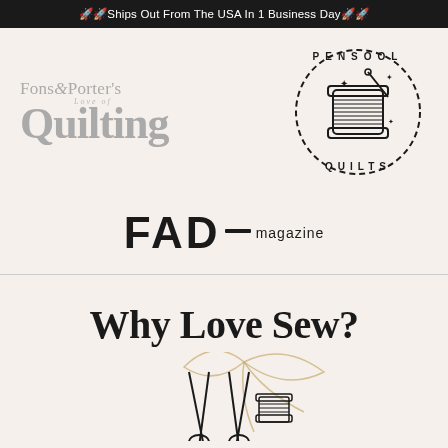🚀🚀Ships Out From The USA In 1 Business Day🚀🚀
[Figure (logo): Fons & Porter's Love of Quilting logo in gray serif font]
[Figure (logo): Pensool Quilts circular stamp logo with thread spool illustration]
[Figure (logo): FAD magazine logo with bold sans-serif text and dash separator]
Why Love Sew?
[Figure (illustration): Sewing scissors and needle/thread illustration with decorative golden bow]